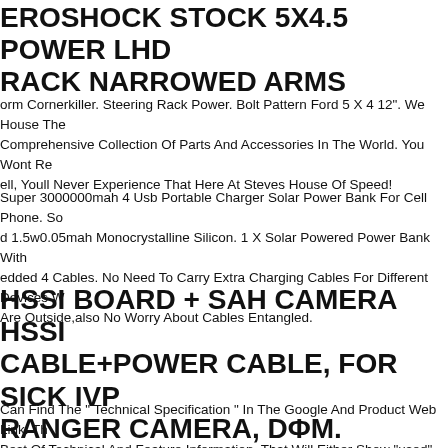EROSHOCK STOCK 5X4.5 POWER LHD RACK NARROWED ARMS
orm Cornerkiller. Steering Rack Power. Bolt Pattern Ford 5 X 4 12". We House The Comprehensive Collection Of Parts And Accessories In The World. You Wont Re ell, Youll Never Experience That Here At Steves House Of Speed!
Super 3000000mah 4 Usb Portable Charger Solar Power Bank For Cell Phone. So d 1.5w0.05mah Monocrystalline Silicon. 1 X Solar Powered Power Bank With edded 4 Cables. No Need To Carry Extra Charging Cables For Different Devices W Are Outside,also No Worry About Cables Entangled.
HSSI BOARD + SAH CAMERA HSSI CABLE+POWER CABLE, FOR SICK IVP RANGER CAMERA, DΦM.
Can Find The " Technical Specification " In The Google And Product Web Link. Th Best Of Technical And Feature Information. That Will Either Show "used" ,or "new " ,or "new" ,or "for Part Not Working".
Includes On Mounton ld fo Allen Stock 5.55 and Hd Rods Applicable fo...